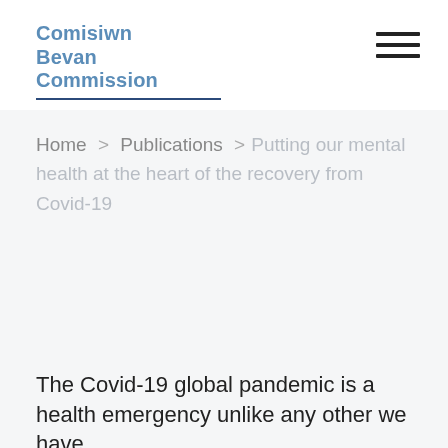Comisiwn Bevan Commission
Home > Publications > Putting our mental health at the heart of the recovery from Covid-19
The Covid-19 global pandemic is a health emergency unlike any other we have